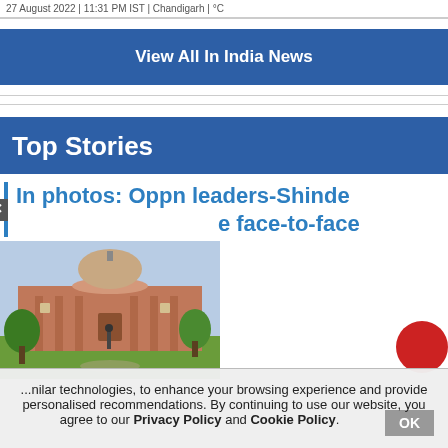27 August 2022 | 11:31 PM IST | Chandigarh | °C
View All In India News
Top Stories
In photos: Oppn leaders-Shinde face-to-face
[Figure (photo): Exterior photograph of the Supreme Court of India building with dome, red sandstone facade, green trees and a statue in front, taken on a clear day]
nilar technologies, to enhance your browsing experience and provide personalised recommendations. By continuing to use our website, you agree to our Privacy Policy and Cookie Policy.